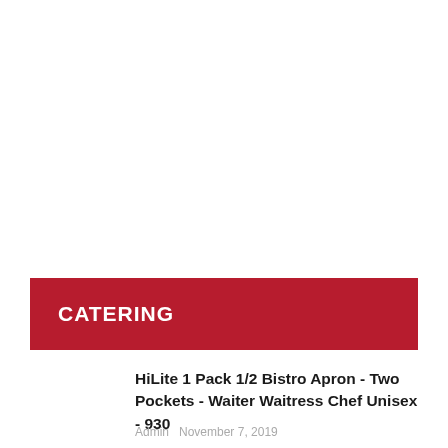CATERING
HiLite 1 Pack 1/2 Bistro Apron - Two Pockets - Waiter Waitress Chef Unisex - 930
Admin  November 7, 2019